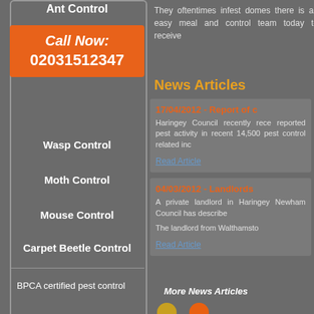Ant Control
Call Now: 02031512347
Wasp Control
Moth Control
Mouse Control
Carpet Beetle Control
[Figure (photo): BPCA certified pest control logo/image placeholder]
They oftentimes infest domes there is an easy meal and control team today to receive
News Articles
17/04/2012 - Report of c
Haringey Council recently rece reported pest activity in recent 14,500 pest control related inc
Read Article
04/03/2012 - Landlords
A private landlord in Haringey Newham Council has describe
The landlord from Walthamsto
Read Article
More News Articles